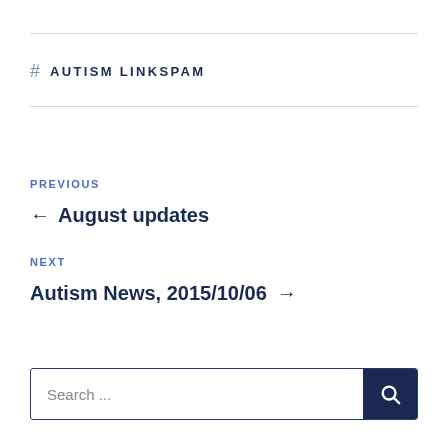# AUTISM LINKSPAM
PREVIOUS
← August updates
NEXT
Autism News, 2015/10/06 →
Search ...